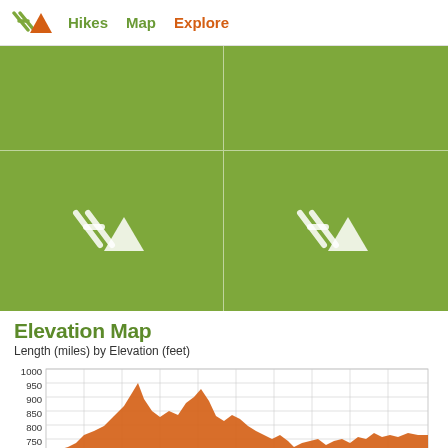Hikes  Map  Explore
[Figure (photo): 2x2 grid of green placeholder images with a hiking logo (stylized mountain/H mark) in white on green background]
Elevation Map
Length (miles) by Elevation (feet)
[Figure (area-chart): Orange area chart showing elevation profile of a hike, ranging roughly from 700 to 980 feet over the trail length. Y-axis labeled 700-1000 in increments of 50.]